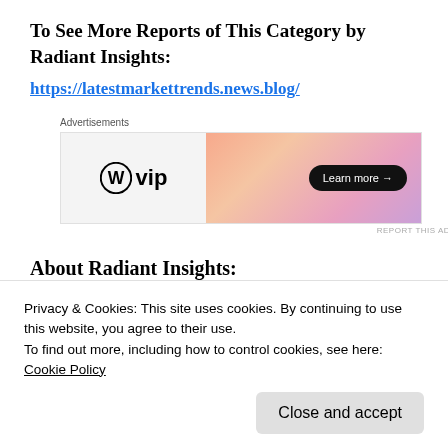To See More Reports of This Category by Radiant Insights:
https://latestmarkettrends.news.blog/
[Figure (other): WordPress VIP advertisement banner with gradient background and 'Learn more →' button]
About Radiant Insights:
Radiant Insights is a platform for companies
Privacy & Cookies: This site uses cookies. By continuing to use this website, you agree to their use.
To find out more, including how to control cookies, see here:
Cookie Policy
Close and accept
in the decision making process. The